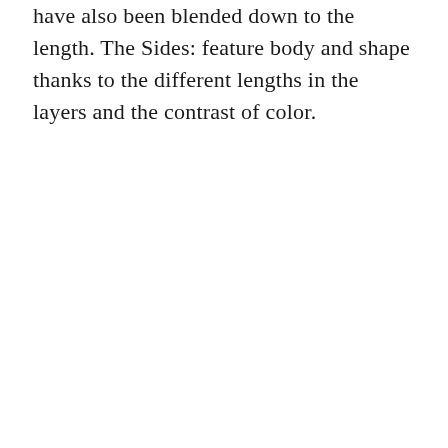have also been blended down to the length. The Sides: feature body and shape thanks to the different lengths in the layers and the contrast of color.